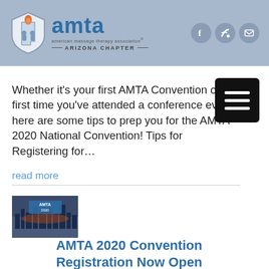amta — american massage therapy association — ARIZONA CHAPTER
Whether it's your first AMTA Convention or the first time you've attended a conference ever, here are some tips to prep you for the AMTA 2020 National Convention! Tips for Registering for…
read more
[Figure (photo): AMTA 2020 convention thumbnail image showing a city skyline]
AMTA 2020 Convention Registration Now Open
Register Now For First Choice of CE Sessions  The AMTA 2020 National Convention will take place August